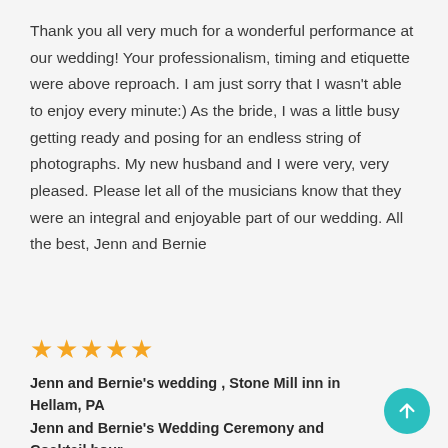Thank you all very much for a wonderful performance at our wedding! Your professionalism, timing and etiquette were above reproach. I am just sorry that I wasn't able to enjoy every minute:) As the bride, I was a little busy getting ready and posing for an endless string of photographs. My new husband and I were very, very pleased. Please let all of the musicians know that they were an integral and enjoyable part of our wedding. All the best, Jenn and Bernie
[Figure (other): Five gold/orange star rating icons]
Jenn and Bernie's wedding , Stone Mill inn in Hellam, PA
Jenn and Bernie's Wedding Ceremony and Cocktail hour